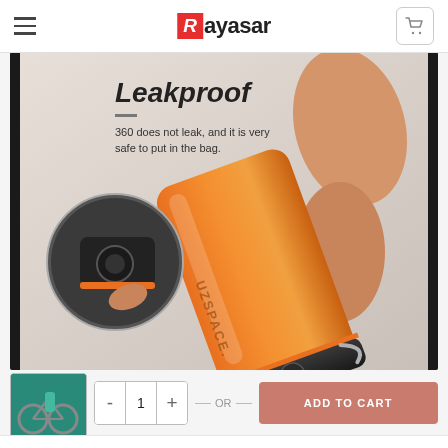Rayasar
[Figure (photo): Orange UZSPACE water bottle being held by hand, shown at an angle. Text overlay reads 'Leakproof' with description '360 does not leak, and it is very safe to put in the bag.' A circular inset shows the cap/lock mechanism detail.]
[Figure (photo): Small thumbnail of a teal/green water bottle on a bicycle.]
- 1 + — OR — ADD TO CART